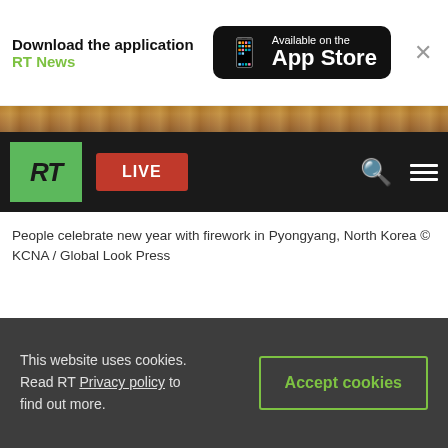[Figure (screenshot): RT News app download banner with App Store badge]
[Figure (photo): Partial photo strip showing crowd in Pyongyang]
[Figure (screenshot): RT website navigation bar with logo, LIVE button, search and menu icons]
People celebrate new year with firework in Pyongyang, North Korea © KCNA / Global Look Press
This website uses cookies. Read RT Privacy policy to find out more.
Accept cookies
US and South Korea 'failing to major war games'